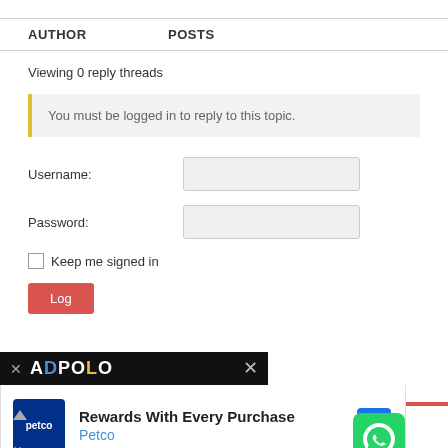| AUTHOR | POSTS |
| --- | --- |
Viewing 0 reply threads
You must be logged in to reply to this topic.
Username:
Password:
Keep me signed in
[Figure (screenshot): Ad overlay with ADPOLO branding and Petco ad: 'Rewards With Every Purchase' from Petco, with navigation icon and WhatsApp button]
Log